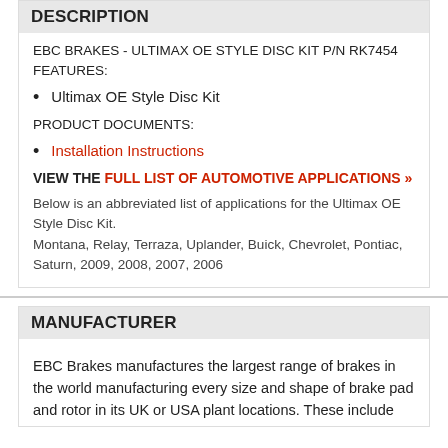DESCRIPTION
EBC BRAKES - ULTIMAX OE STYLE DISC KIT P/N RK7454 FEATURES:
Ultimax OE Style Disc Kit
PRODUCT DOCUMENTS:
Installation Instructions
VIEW THE FULL LIST OF AUTOMOTIVE APPLICATIONS »
Below is an abbreviated list of applications for the Ultimax OE Style Disc Kit.
Montana, Relay, Terraza, Uplander, Buick, Chevrolet, Pontiac, Saturn, 2009, 2008, 2007, 2006
MANUFACTURER
EBC Brakes manufactures the largest range of brakes in the world manufacturing every size and shape of brake pad and rotor in its UK or USA plant locations. These include